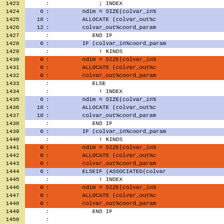| line | num | : | code |
| --- | --- | --- | --- |
| 1423 |  | : | ; INDEX |
| 1424 | 6 | : | ndim = SIZE(colvar_in% |
| 1425 | 18 | : | ALLOCATE (colvar_out%c |
| 1426 | 12 | : | colvar_out%coord_param |
| 1427 |  | : | END IF |
| 1428 | 6 | : | IF (colvar_in%coord_param |
| 1429 |  | : | ! KINDS |
| 1430 | 0 | : | ndim = SIZE(colvar_in% |
| 1431 | 0 | : | ALLOCATE (colvar_out%c |
| 1432 | 0 | : | colvar_out%coord_param |
| 1433 |  | : | ELSE |
| 1434 |  | : | ! INDEX |
| 1435 | 6 | : | ndim = SIZE(colvar_in% |
| 1436 | 18 | : | ALLOCATE (colvar_out%c |
| 1437 | 18 | : | colvar_out%coord_param |
| 1438 |  | : | END IF |
| 1439 | 6 | : | IF (colvar_in%coord_param |
| 1440 |  | : | ! KINDS |
| 1441 | 0 | : | ndim = SIZE(colvar_in% |
| 1442 | 0 | : | ALLOCATE (colvar_out%c |
| 1443 | 0 | : | colvar_out%coord_param |
| 1444 | 6 | : | ELSEIF (ASSOCIATED(colvar |
| 1445 |  | : | ! INDEX |
| 1446 | 0 | : | ndim = SIZE(colvar_in% |
| 1447 | 0 | : | ALLOCATE (colvar_out%c |
| 1448 | 0 | : | colvar_out%coord_param |
| 1449 |  | : | END IF |
| 1450 |  | : |  |
| 1451 |  | : | CASE (population_colvar_id) |
| 1452 | 0 | : | colvar_out%population_par |
| 1453 | 0 | : | colvar_out%population_ |